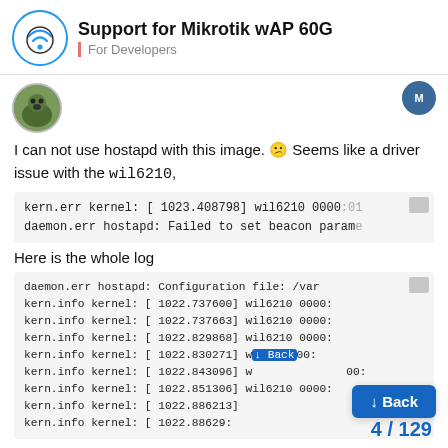Support for Mikrotik wAP 60G | For Developers
[Figure (screenshot): User avatar (dog photo) and another user avatar on the right]
I can not use hostapd with this image. 😕 Seems like a driver issue with the wil6210,
kern.err kernel: [ 1023.408798] wil6210 0000:01
daemon.err hostapd: Failed to set beacon parame
Here is the whole log
daemon.err hostapd: Configuration file: /var
kern.info kernel: [ 1022.737600] wil6210 0000:0
kern.info kernel: [ 1022.737663] wil6210 0000:0
kern.info kernel: [ 1022.829868] wil6210 0000:0
kern.info kernel: [ 1022.830271] wil6210 0000:0
kern.info kernel: [ 1022.843096] w         00:0
kern.info kernel: [ 1022.851306] wil6210 0000:0
kern.info kernel: [ 1022.886213]
kern.info kernel: [ 1022.88629: